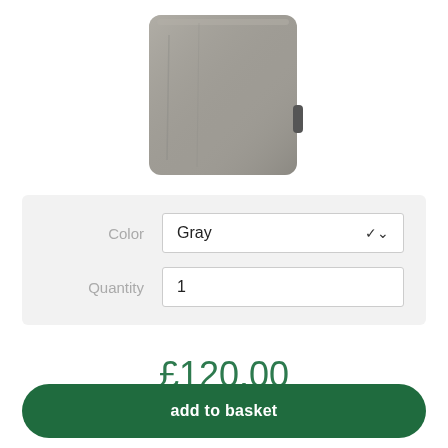[Figure (photo): Gray fabric backpack shown from the back/side angle against a white background]
Color: Gray
Quantity: 1
£120.00
all prices incl. VAT., excl. shipping costs
add to basket